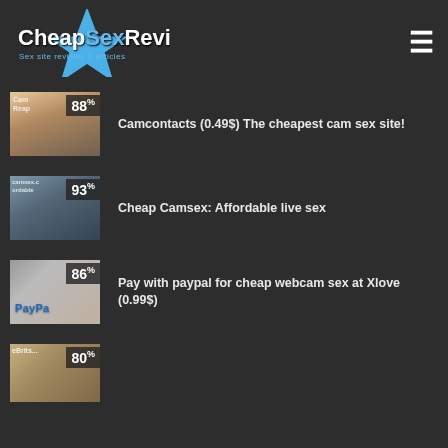CheapSexReviews – Sex site reviews & articles
88% – Camcontacts (0.49$) The cheapest cam sex site!
93% – Cheap Camsex: Affordable live sex
86% – Pay with paypal for cheap webcam sex at Xlove (0.99$)
80% – (partial listing)